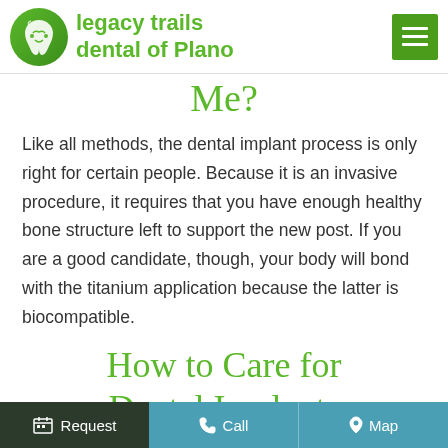[Figure (logo): Legacy Trails Dental of Plano logo with green tooth icon and green text]
Me?
Like all methods, the dental implant process is only right for certain people. Because it is an invasive procedure, it requires that you have enough healthy bone structure left to support the new post. If you are a good candidate, though, your body will bond with the titanium application because the latter is biocomp atible.
How to Care for Dental Implants
Request   Call   Map